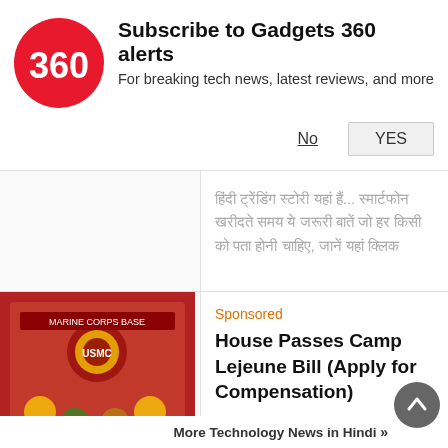[Figure (logo): Gadgets 360 red circle logo with '360' text]
Subscribe to Gadgets 360 alerts
For breaking tech news, latest reviews, and more
No
YES
हिंदी ट्रेंडिंग स्टोरी यहां हैं... स्मार्टफोन खरीदते समय ये जरूरी बातें जो हर किसी को पता होनी चाहिए
[Figure (photo): Red military/Marine Corps memorabilia display board with badges and insignia]
Sponsored
House Passes Camp Lejeune Bill (Apply for Compensation)
UnitedClaimsBureau
72 km की रेंज वाला RadExpand 5 इलेक्ट्रिक फोल्डेबल साइकल लॉन्च, जानें कीमत
More Technology News in Hindi »